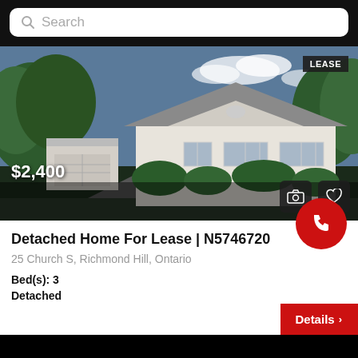Search
[Figure (photo): Exterior photo of a detached home with white siding, grey roof, surrounded by trees and green landscaping. A detached white garage is visible on the left. A 'LEASE' badge is in the top right corner. Price '$2,400' is overlaid at the bottom left, with a camera icon and heart icon at the bottom right.]
Detached Home For Lease | N5746720
25 Church S, Richmond Hill, Ontario
Bed(s): 3
Details